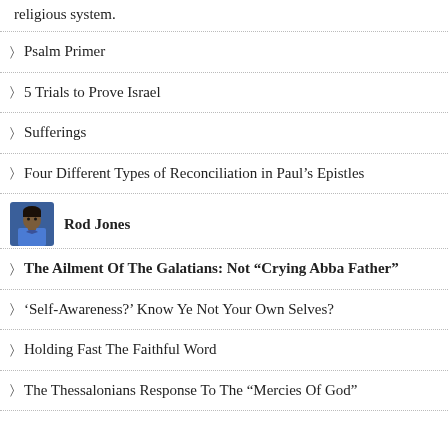religious system.
Psalm Primer
5 Trials to Prove Israel
Sufferings
Four Different Types of Reconciliation in Paul’s Epistles
[Figure (photo): Portrait photo of Rod Jones, a man in a blue shirt]
Rod Jones
The Ailment Of The Galatians: Not “Crying Abba Father”
‘Self-Awareness?’ Know Ye Not Your Own Selves?
Holding Fast The Faithful Word
The Thessalonians Response To The “Mercies Of God”